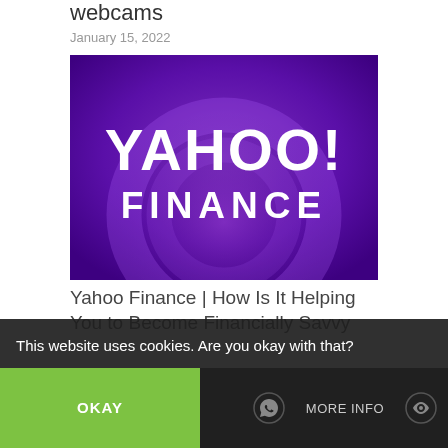webcams
January 15, 2022
[Figure (logo): Yahoo Finance logo on purple gradient background with text YAHOO! FINANCE in white]
Yahoo Finance | How Is It Helping You to Become Financially Savvy
January 12, 2022
This website uses cookies. Are you okay with that?
OKAY
MORE INFO